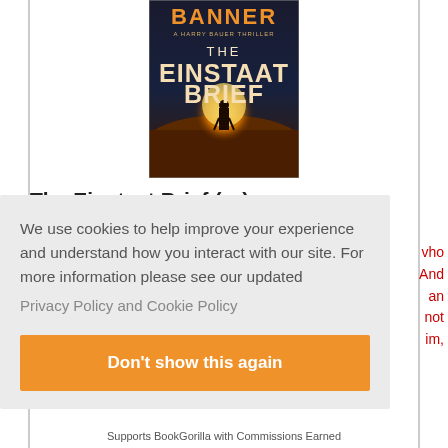[Figure (illustration): Book cover for 'The Einstaат Brief' by Banner, a Harry Bauer Thriller. Shows a silhouette of a person walking through a glowing tunnel with dramatic orange and red lighting.]
The Einstaат Brief (...)
We use cookies to help improve your experience and understand how you interact with our site. For more information please see our updated
Privacy Policy and Cookie Policy
Don't show this again
Supports BookGorilla with Commissions Earned